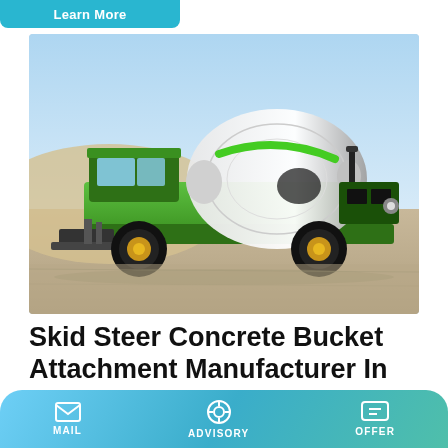Learn More
[Figure (photo): A green self-loading concrete mixer truck (skid steer type) parked outdoors on a gravel/dirt surface with a clear sky background. The truck features a large white rotating drum mixer on the rear, a cab on the left, large black tires, and green/black body color with a front bucket attachment.]
Skid Steer Concrete Bucket Attachment Manufacturer In India
GAMZEN PLAST PRIVATE LIMITED. B-19, Sussex Industrial
MAIL   ADVISORY   OFFER